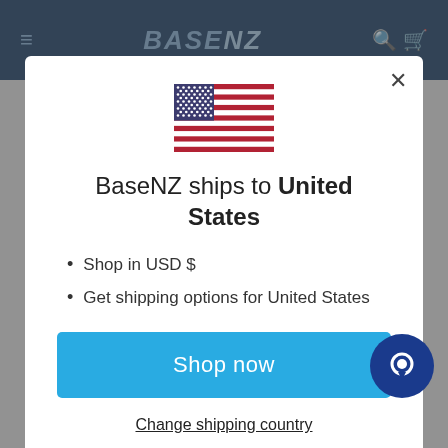[Figure (screenshot): BaseNZ website header with dark navy background, hamburger menu, BASE NZ logo, and search/cart icons]
[Figure (illustration): US flag icon (stars and stripes) centered above the modal title]
BaseNZ ships to United States
Shop in USD $
Get shipping options for United States
Shop now
Change shipping country
CHECK REWARDS